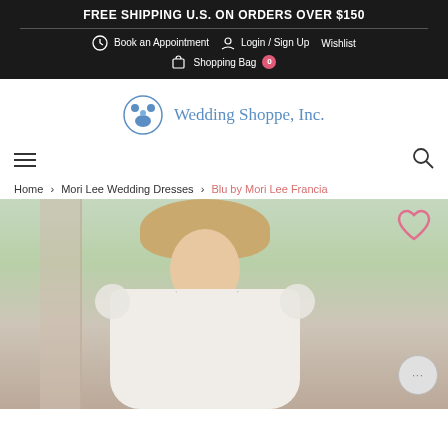FREE SHIPPING U.S. ON ORDERS OVER $150
Book an Appointment  Login / Sign Up  Wishlist
Shopping Bag  0
[Figure (logo): Wedding Shoppe, Inc. logo with circular icon showing stylized figures and blue text reading 'Wedding Shoppe, Inc.']
Home > Mori Lee Wedding Dresses > Blu by Mori Lee Francia
[Figure (photo): A woman in a white lace wedding dress with cap sleeves and deep V-neckline, photographed outdoors in a garden setting. A pink heart wishlist icon is visible in the upper right of the image, and a chat bubble icon in the lower right.]